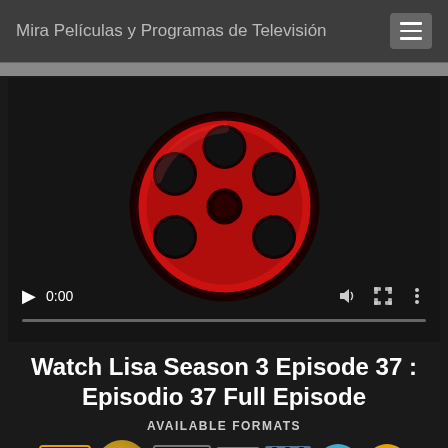Mira Películas y Programas de Televisión
[Figure (screenshot): Video player with film reel icon, play controls showing 0:00, volume, fullscreen, and more options buttons, with a progress bar at the bottom]
Watch Lisa Season 3 Episode 37 : Episodio 37 Full Episode
AVAILABLE FORMATS
[Figure (infographic): Format badges showing 4K, Full HD, 1080P, HD, 480, mobile, and TV icons]